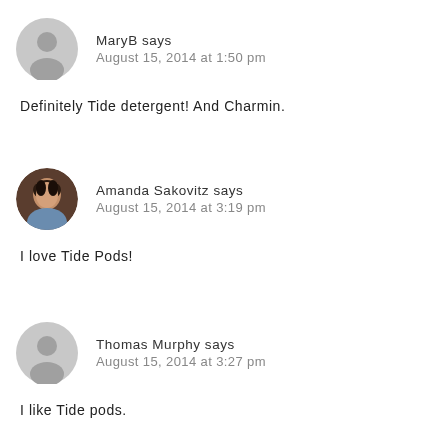[Figure (photo): Gray default avatar icon for MaryB]
MaryB says
August 15, 2014 at 1:50 pm
Definitely Tide detergent! And Charmin.
[Figure (photo): Profile photo of Amanda Sakovitz]
Amanda Sakovitz says
August 15, 2014 at 3:19 pm
I love Tide Pods!
[Figure (photo): Gray default avatar icon for Thomas Murphy]
Thomas Murphy says
August 15, 2014 at 3:27 pm
I like Tide pods.